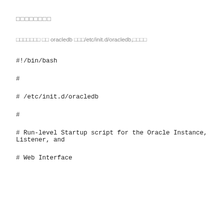□□□□□□□□
□□□□□□□ □□ oracledb □□□/etc/init.d/oracledb,□□□□
#!/bin/bash
#
# /etc/init.d/oracledb
#
# Run-level Startup script for the Oracle Instance, Listener, and
# Web Interface